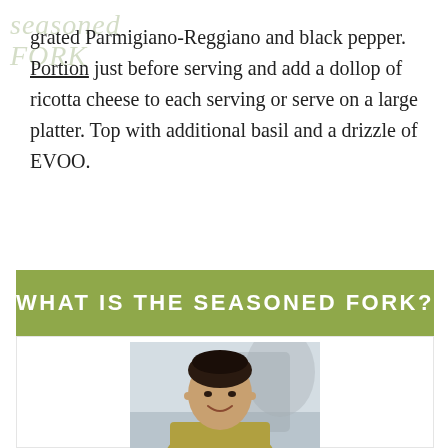grated Parmigiano-Reggiano and black pepper. Portion just before serving and add a dollop of ricotta cheese to each serving or serve on a large platter. Top with additional basil and a drizzle of EVOO.
WHAT IS THE SEASONED FORK?
[Figure (photo): Portrait photograph of a woman with dark hair pulled back, wearing a light olive/yellow top, smiling, in what appears to be a kitchen or professional setting.]